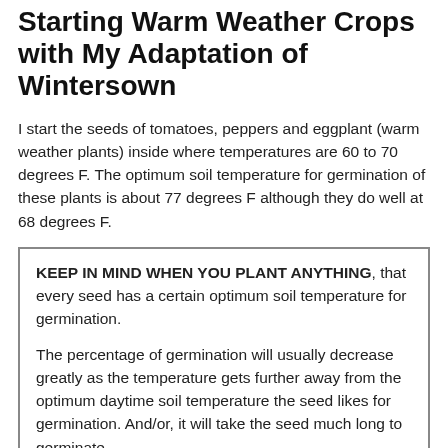Starting Warm Weather Crops with My Adaptation of Wintersown
I start the seeds of tomatoes, peppers and eggplant (warm weather plants) inside where temperatures are 60 to 70 degrees F. The optimum soil temperature for germination of these plants is about 77 degrees F although they do well at 68 degrees F.
KEEP IN MIND WHEN YOU PLANT ANYTHING, that every seed has a certain optimum soil temperature for germination.

The percentage of germination will usually decrease greatly as the temperature gets further away from the optimum daytime soil temperature the seed likes for germination. And/or, it will take the seed much long to germinate.

For example, assuming that the seed is fresh: